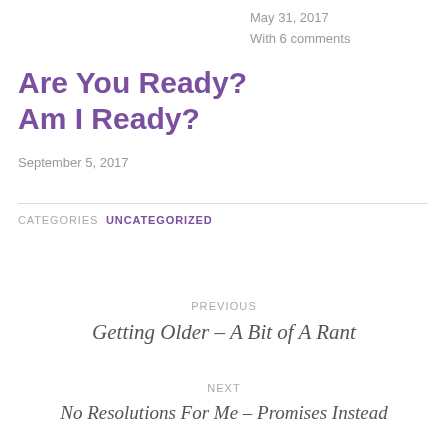May 31, 2017
With 6 comments
Are You Ready?
Am I Ready?
September 5, 2017
CATEGORIES  UNCATEGORIZED
PREVIOUS
Getting Older – A Bit of A Rant
NEXT
No Resolutions For Me – Promises Instead